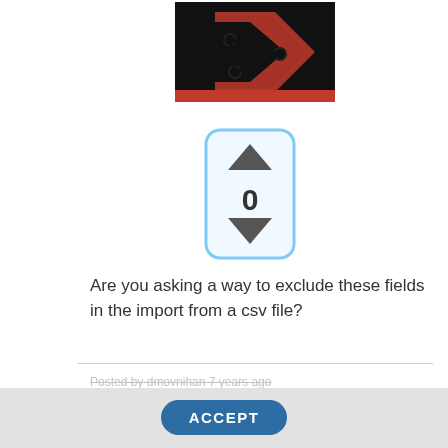[Figure (logo): Quest Software / Toad logo — red arrow/network icon on black background with red text bar below]
[Figure (other): Vote widget — up/down arrows with count 0, styled with light blue border rounded rectangle]
Are you asking a way to exclude these fields in the import from a csv file?
Posted by dmovnihan 7 years ago
[Figure (screenshot): Cookie consent overlay with ACCEPT button and cookie policy text: 'This website uses cookies. By continuing to use this site and/or clicking the "Accept" button you are providing consent Quest Software and its affiliates do NOT sell the Personal Data you provide to us either when you register on our websites or']